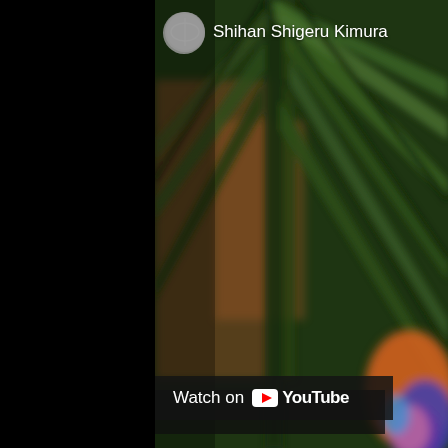[Figure (screenshot): A YouTube video screenshot showing a blurry scene with dark green tropical leaves and a person visible in the lower right wearing colorful clothing. The left third of the image is solid black. A channel avatar and name 'Shihan Shigeru Kimura' appear in the top area. A 'Watch on YouTube' overlay bar is visible near the bottom.]